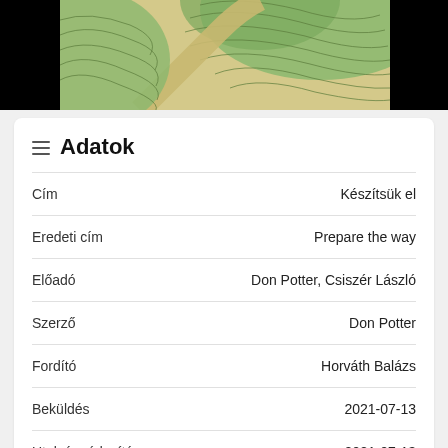[Figure (map): Topographic map with contour lines showing green hills and a sandy path, partially obscured by black areas on left and right sides.]
Adatok
| Field | Value |
| --- | --- |
| Cím | Készítsük el |
| Eredeti cím | Prepare the way |
| Előadó | Don Potter, Csiszér László |
| Szerző | Don Potter |
| Fordító | Horváth Balázs |
| Beküldés | 2021-07-13 |
| Utolsó módosítás | 2021-07-13 |